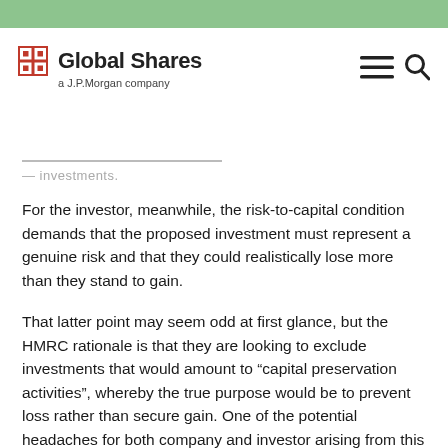Global Shares — a J.P.Morgan company
For the investor, meanwhile, the risk-to-capital condition demands that the proposed investment must represent a genuine risk and that they could realistically lose more than they stand to gain.
That latter point may seem odd at first glance, but the HMRC rationale is that they are looking to exclude investments that would amount to “capital preservation activities”, whereby the true purpose would be to prevent loss rather than secure gain. One of the potential headaches for both company and investor arising from this measure is that the decision-making process on eligibility is largely subjective – each application is assessed on its own merits, rather than having to meet a specified set of criteria.